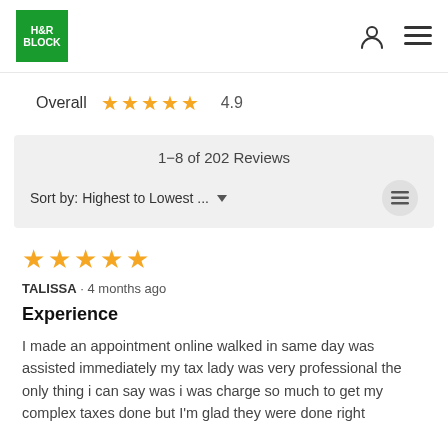[Figure (logo): H&R Block green logo with white text]
Overall  ★★★★★  4.9
1–8 of 202 Reviews
Sort by: Highest to Lowest ...
★★★★★
TALISSA · 4 months ago
Experience
I made an appointment online walked in same day was assisted immediately my tax lady was very professional the only thing i can say was i was charge so much to get my complex taxes done but I'm glad they were done right